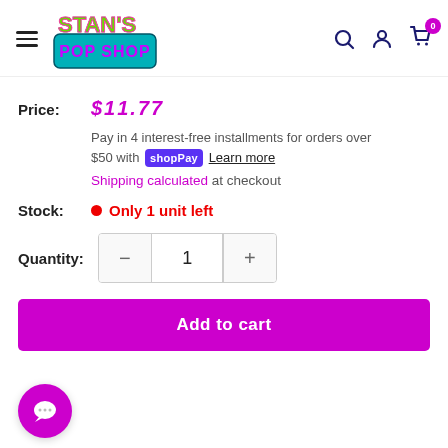[Figure (logo): Stan's Pop Shop logo — colorful graffiti-style text with pink, green, and blue colors on a teal banner]
Price: $11.77
Pay in 4 interest-free installments for orders over $50 with Shop Pay. Learn more
Shipping calculated at checkout
Stock: Only 1 unit left
Quantity: 1
Add to cart